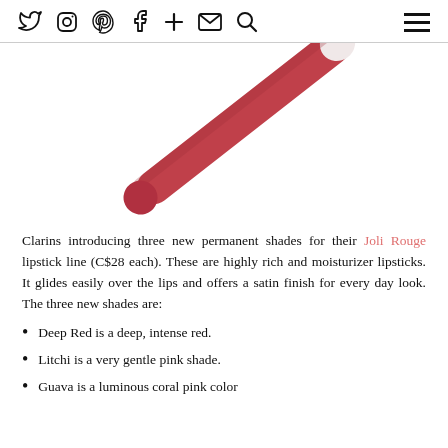Twitter Instagram Pinterest Facebook + Mail Search [hamburger menu]
[Figure (photo): A red/crimson lip liner pencil photographed diagonally on a white background, tip pointing upper right.]
Clarins introducing three new permanent shades for their Joli Rouge lipstick line (C$28 each). These are highly rich and moisturizer lipsticks. It glides easily over the lips and offers a satin finish for every day look. The three new shades are:
Deep Red is a deep, intense red.
Litchi is a very gentle pink shade.
Guava is a luminous coral pink color